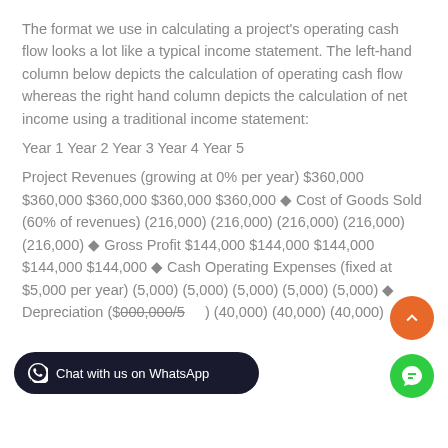The format we use in calculating a project's operating cash flow looks a lot like a typical income statement. The left-hand column below depicts the calculation of operating cash flow whereas the right hand column depicts the calculation of net income using a traditional income statement:
Year 1 Year 2 Year 3 Year 4 Year 5
Project Revenues (growing at 0% per year) $360,000 $360,000 $360,000 $360,000 $360,000 ◆ Cost of Goods Sold (60% of revenues) (216,000) (216,000) (216,000) (216,000) (216,000) ◆ Gross Profit $144,000 $144,000 $144,000 $144,000 $144,000 ◆ Cash Operating Expenses (fixed at $5,000 per year) (5,000) (5,000) (5,000) (5,000) (5,000) ◆ Depreciation ($000,000/5 years) (40,000) (40,000) (40,000) ◆ Operating Income $ 99,000 99,000 $ 99,000 $ 99,000 $ 99,000 ◆ Taxes (30%)